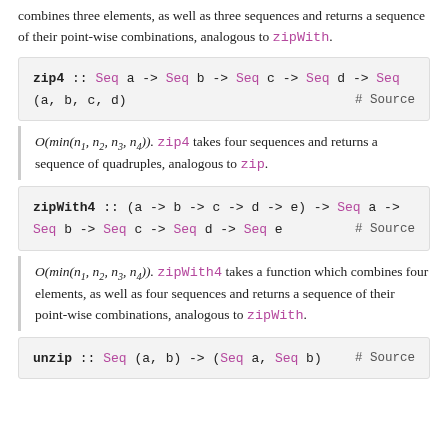combines three elements, as well as three sequences and returns a sequence of their point-wise combinations, analogous to zipWith.
zip4 :: Seq a -> Seq b -> Seq c -> Seq d -> Seq (a, b, c, d)  # Source
O(min(n1, n2, n3, n4)). zip4 takes four sequences and returns a sequence of quadruples, analogous to zip.
zipWith4 :: (a -> b -> c -> d -> e) -> Seq a -> Seq b -> Seq c -> Seq d -> Seq e  # Source
O(min(n1, n2, n3, n4)). zipWith4 takes a function which combines four elements, as well as four sequences and returns a sequence of their point-wise combinations, analogous to zipWith.
unzip :: Seq (a, b) -> (Seq a, Seq b)  # Source